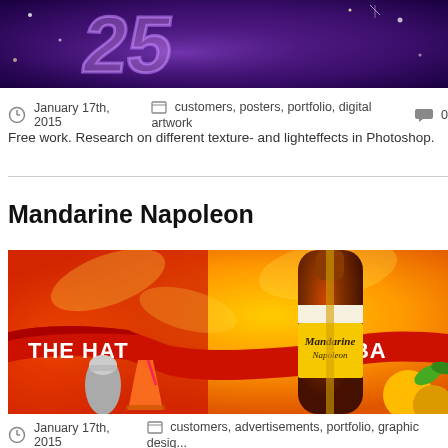[Figure (illustration): Top portion of a purple/violet graphic design poster with stylized 3D number/text and sparkle effects on dark background]
January 17th, 2015    customers, posters, portfolio, digital artwork    0
Free work. Research on different texture- and lighteffects in Photoshop.
Mandarine Napoleon
[Figure (illustration): Mandarine Napoleon liqueur advertisement showing the bottle with 'THE HAT IS BA...' text on a red ribbon banner against an orange decorative background with cocktail shaker, drinks, and citrus fruits]
January 17th, 2015    customers, advertisements, portfolio, graphic design